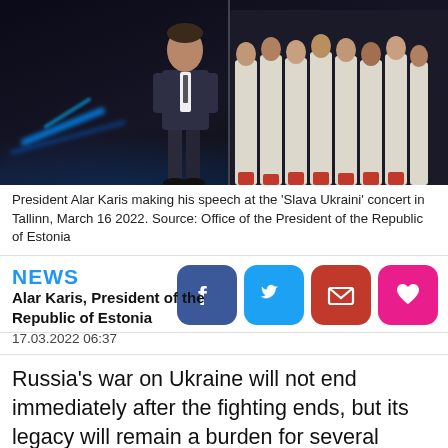[Figure (photo): President Alar Karis making a speech on stage at the 'Slava Ukraini' concert in Tallinn, with a choir dressed in white standing behind him and blue stage lighting.]
President Alar Karis making his speech at the 'Slava Ukraini' concert in Tallinn, March 16 2022. Source: Office of the President of the Republic of Estonia
NEWS
Alar Karis, President of the Republic of Estonia
17.03.2022 06:37
Russia's war on Ukraine will not end immediately after the fighting ends, but its legacy will remain a burden for several generations to come, President Alar Karis says.